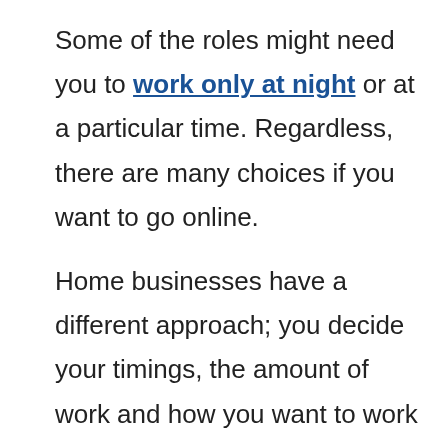Some of the roles might need you to work only at night or at a particular time. Regardless, there are many choices if you want to go online. Home businesses have a different approach; you decide your timings, the amount of work and how you want to work on your projects. As a business owner, I believe that flexibility is slightly higher when compared to work-at-home jobs. But the amount of work you have to put in to grow your business is more. So, eventually, it levels out.